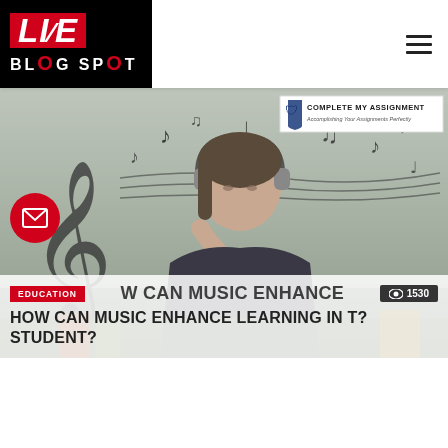[Figure (logo): Live Blog Spot logo — red LIVE text on black background with BLOG SPOT below]
[Figure (photo): Woman wearing headphones resting head on hand, surrounded by floating musical notes and treble clef, books in foreground. Sponsor badge: COMPLETE MY ASSIGNMENT - Accomplishing Your Assignments Perfectly]
EDUCATION
1530
HOW CAN MUSIC ENHANCE LEARNING IN T? STUDENT?